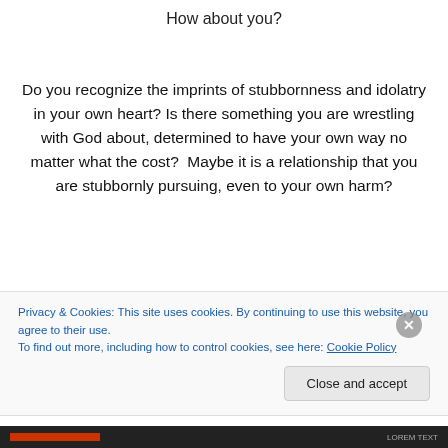How about you?
Do you recognize the imprints of stubbornness and idolatry in your own heart? Is there something you are wrestling with God about, determined to have your own way no matter what the cost?  Maybe it is a relationship that you are stubbornly pursuing, even to your own harm?
Privacy & Cookies: This site uses cookies. By continuing to use this website, you agree to their use.
To find out more, including how to control cookies, see here: Cookie Policy
Close and accept